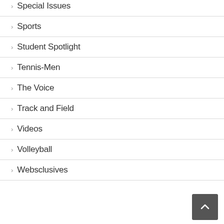> Special Issues
> Sports
> Student Spotlight
> Tennis-Men
> The Voice
> Track and Field
> Videos
> Volleyball
> Websclusives